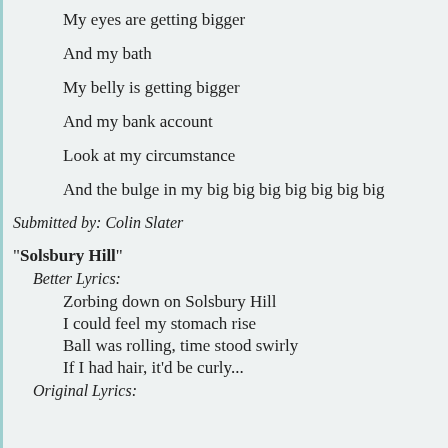My eyes are getting bigger
And my bath
My belly is getting bigger
And my bank account
Look at my circumstance
And the bulge in my big big big big big big big
Submitted by: Colin Slater
"Solsbury Hill"
Better Lyrics:
Zorbing down on Solsbury Hill
I could feel my stomach rise
Ball was rolling, time stood swirly
If I had hair, it'd be curly...
Original Lyrics: